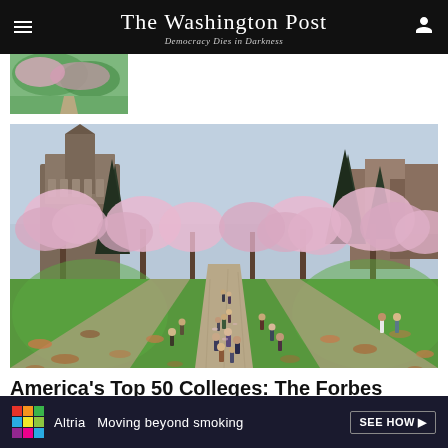The Washington Post — Democracy Dies in Darkness
[Figure (photo): Small thumbnail photo of cherry blossoms or campus greenery]
[Figure (photo): University of Washington Quad in spring with cherry blossom trees in bloom and students walking on pathways across green lawns, with Suzzallo Library visible in the background]
America's Top 50 Colleges: The Forbes
[Figure (other): Altria advertisement banner: 'Moving beyond smoking' with SEE HOW link]